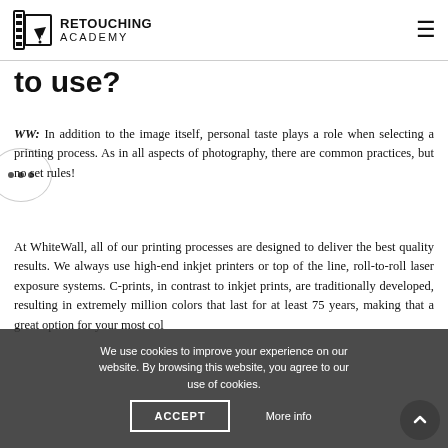Retouching Academy
to use?
WW: In addition to the image itself, personal taste plays a role when selecting a printing process. As in all aspects of photography, there are common practices, but no set rules!
At WhiteWall, all of our printing processes are designed to deliver the best quality results. We always use high-end inkjet printers or top of the line, roll-to-roll laser exposure systems. C-prints, in contrast to inkjet prints, are traditionally developed, resulting in extremely million colors that last for at least 75 years, making that a great option for your most col...
We use cookies to improve your experience on our website. By browsing this website, you agree to our use of cookies.